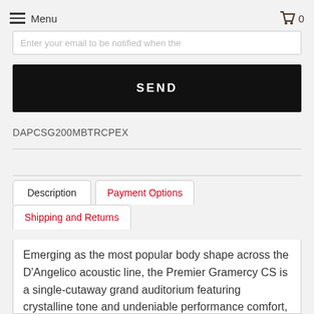Menu  0
Enter your email to be notified when the
SEND
DAPCSG200MBTRCPEX
Description  |  Payment Options  |  Shipping and Returns
Emerging as the most popular body shape across the D'Angelico acoustic line, the Premier Gramercy CS is a single-cutaway grand auditorium featuring crystalline tone and undeniable performance comfort, courtesy of a slim